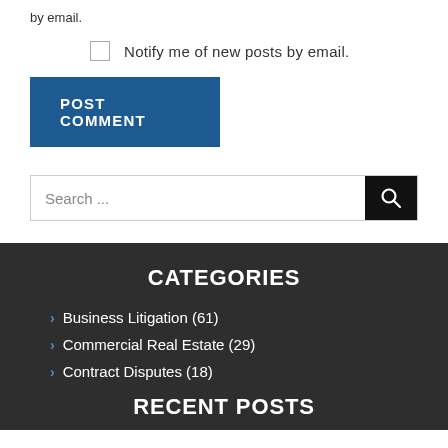by email.
Notify me of new posts by email.
POST COMMENT
Search ...
CATEGORIES
Business Litigation (61)
Commercial Real Estate (29)
Contract Disputes (18)
RECENT POSTS